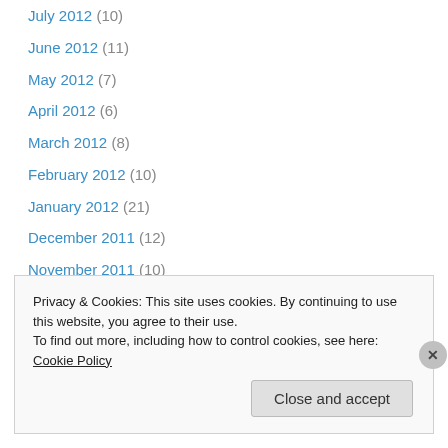July 2012 (10)
June 2012 (11)
May 2012 (7)
April 2012 (6)
March 2012 (8)
February 2012 (10)
January 2012 (21)
December 2011 (12)
November 2011 (10)
October 2011 (7)
September 2011 (15)
August 2011 (6)
July 2011 (10)
Privacy & Cookies: This site uses cookies. By continuing to use this website, you agree to their use. To find out more, including how to control cookies, see here: Cookie Policy
Close and accept